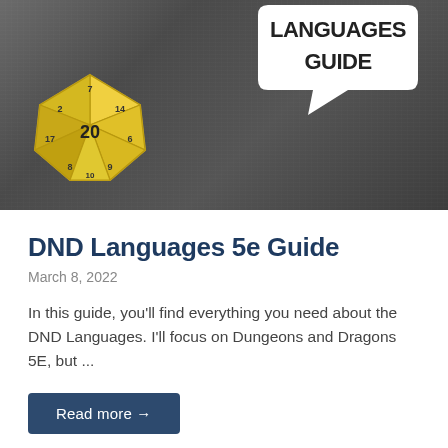[Figure (photo): A chalkboard background with a yellow D20 dice on the left and a white speech bubble on the right reading 'LANGUAGES GUIDE']
DND Languages 5e Guide
March 8, 2022
In this guide, you'll find everything you need about the DND Languages. I'll focus on Dungeons and Dragons 5E, but ...
Read more →